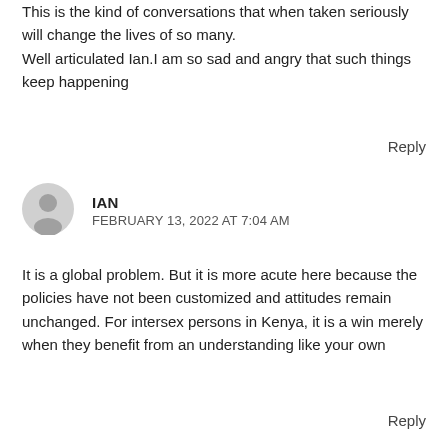This is the kind of conversations that when taken seriously will change the lives of so many.
Well articulated Ian.I am so sad and angry that such things keep happening
Reply
[Figure (illustration): Generic user avatar icon - grey silhouette of a person on light grey circle background]
IAN
FEBRUARY 13, 2022 AT 7:04 AM
It is a global problem. But it is more acute here because the policies have not been customized and attitudes remain unchanged. For intersex persons in Kenya, it is a win merely when they benefit from an understanding like your own
Reply